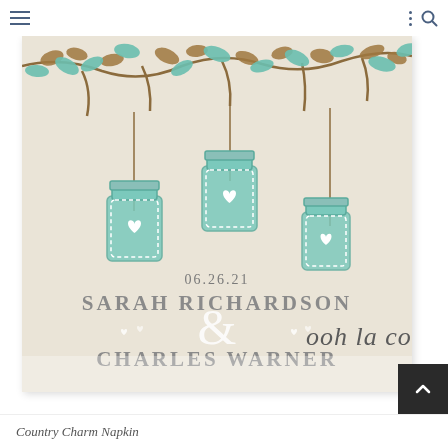navigation header with menu and search icons
[Figure (illustration): Wedding napkin design showing three hanging mason jars with hearts on a linen/kraft background, decorated with illustrated branches and teal/brown leaves at the top. Date '06.26.21' in serif font, names 'Sarah Richardson' and 'Charles Warner' in large serif spaced caps, separated by a large ampersand with white heart decorations. Partial 'ooh la col' brand script visible at bottom right.]
Country Charm Napkin